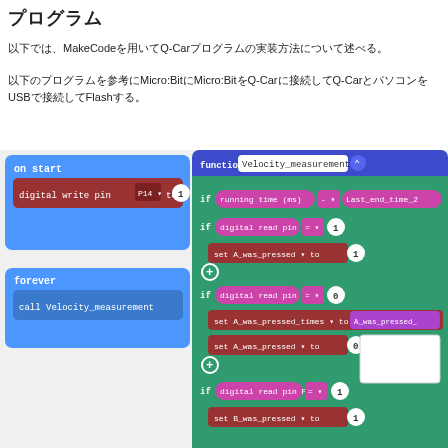プログラム
以下では、MakeCodeを用いてQ-Carプログラムの実装方法について述べる。
以下のプログラムを参考にMicro:BitにMicro:BitをQ-Carに接続してQ-CarとパソコンをUSBで接続してFlashする。
[Figure (screenshot): MakeCode block programming screenshot showing 'on start' block with 'digital write pin P14 to 1', 'forever' block with 'call Velocity_measurement', and a 'function Velocity_measurement' block with multiple if-conditions checking digital read pins P5 and P11, setting variables A_was_pressed, A_was_pressed_times, and B_was_pressed.]